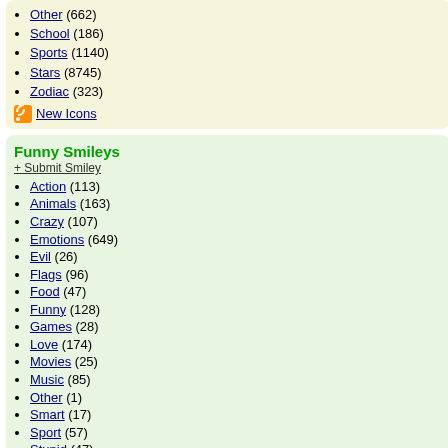Other (662)
School (186)
Sports (1140)
Stars (8745)
Zodiac (323)
New Icons
Funny Smileys
+ Submit Smiley
Action (113)
Animals (163)
Crazy (107)
Emotions (649)
Evil (26)
Flags (96)
Food (47)
Funny (128)
Games (28)
Love (174)
Movies (25)
Music (85)
Other (1)
Smart (17)
Sport (57)
Stupid (47)
Tablet (66)
Zodiac (36)
New Smileys
MySpace Avatars
Smiley code for MySpace and forums
Want to use Saudi Ara forums, MySpace.co
Smiley Code for MyS
Click in the text area t html code
<a href="http://w icons.info/aim-
Smiley bbCode for p
Click in the text area t html code
[url=http://www.b icons.info/aim-
Random Smileys
Music Smiley 20
from Music
Smiley 164
from Emotions
You can download and post the smiley in top emotions by rating this smiley.
Use this smiley in your AIM. Here you can different subjects. You can instal
Comments  S